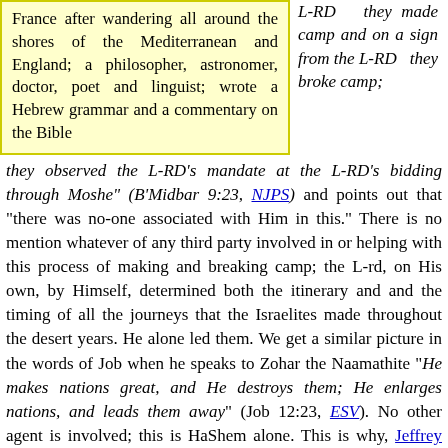France after wandering all around the shores of the Mediterranean and England; a philosopher, astronomer, doctor, poet and linguist; wrote a Hebrew grammar and a commentary on the Bible
L-RD they made camp and on a sign from the L-RD they broke camp; they observed the L-RD's mandate at the L-RD's bidding through Moshe" (B'Midbar 9:23, NJPS) and points out that "there was no-one associated with Him in this." There is no mention whatever of any third party involved in or helping with this process of making and breaking camp; the L-rd, on His own, by Himself, determined both the itinerary and and the timing of all the journeys that the Israelites made throughout the desert years. He alone led them. We get a similar picture in the words of Job when he speaks to Zohar the Naamathite "He makes nations great, and He destroys them; He enlarges nations, and leads them away" (Job 12:23, ESV). No other agent is involved; this is HaShem alone. This is why, Jeffrey Tigay argues, "the poem ... emphasises the